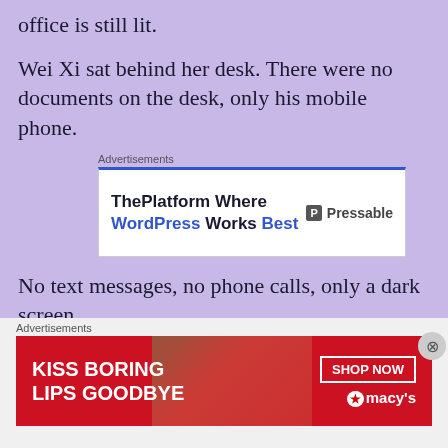office is still lit.
Wei Xi sat behind her desk. There were no documents on the desk, only his mobile phone.
[Figure (screenshot): Advertisement banner: 'ThePlatform Where WordPress Works Best' with Pressable logo]
No text messages, no phone calls, only a dark screen.
Wei Xi closed her eyes, her cold white face showed no expression, but he knew that a
[Figure (screenshot): Advertisement banner: 'KISS BORING LIPS GOODBYE' with Macy's branding and shop now button]